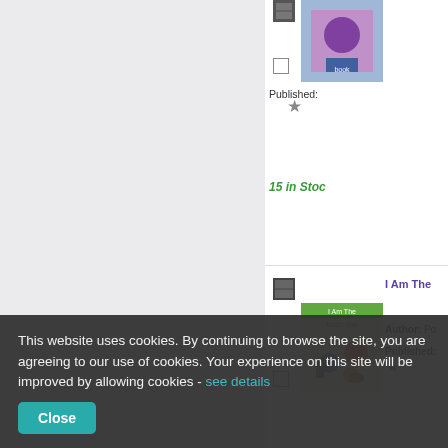[Figure (screenshot): Book listing page showing children's books with thumbnails, checkboxes, stock info, and a cookie consent banner overlay]
Published:
15 in Stock
I Am The Music Man
Author: Po
Published:
2 in Stock
Old Mac
This website uses cookies. By continuing to browse the site, you are agreeing to our use of cookies. Your experience on this site will be improved by allowing cookies - see details
Close